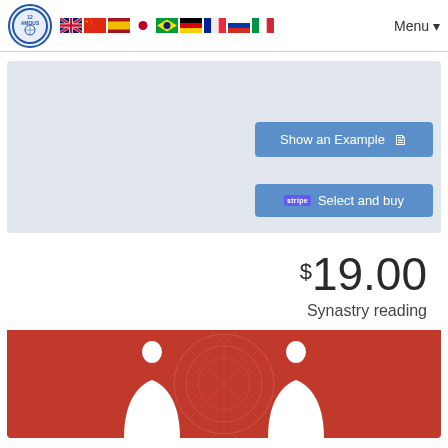[Figure (logo): Circular logo with '12 AMOUS' text and zodiac symbols]
[Figure (illustration): Row of national flags: UK, China, Spain, Japan, Brazil, Germany, France, Russia, Italy]
Menu ▾
Show an Example 📄
stripe  Select and buy
$19.00
Synastry reading
[Figure (illustration): Red background with white silhouettes of two people facing away from each other and astrological chart wheel]